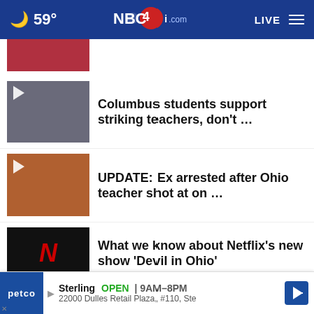🌙 59° NBC4i.com LIVE ≡
[Figure (screenshot): Partial news thumbnail at top, cropped]
Columbus students support striking teachers, don't …
UPDATE: Ex arrested after Ohio teacher shot at on …
What we know about Netflix's new show 'Devil in Ohio'
One dead in southeast Columbus shooting
More Stories …
[Figure (screenshot): Petco advertisement: Sterling OPEN | 9AM–8PM, 22000 Dulles Retail Plaza, #110, Ste]